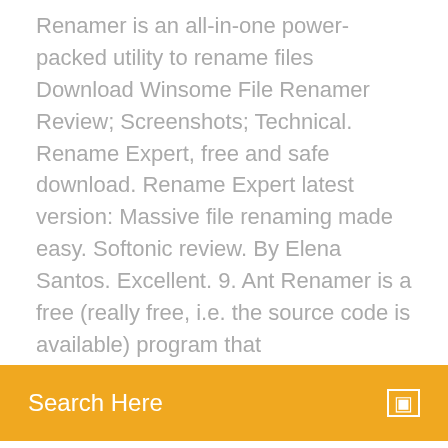Renamer is an all-in-one power-packed utility to rename files Download Winsome File Renamer Review; Screenshots; Technical. Rename Expert, free and safe download. Rename Expert latest version: Massive file renaming made easy. Softonic review. By Elena Santos. Excellent. 9. Ant Renamer is a free (really free, i.e. the source code is available) program that
[Figure (other): Orange search bar with 'Search Here' text in white and a small white icon on the right]
above this text to get more information and download the Nice review and video from George for 'FindMySoft':

Bulk Rename Utility. The Free File Renaming Utility for Windows. Rename multiple files with the click of a button. Free Download File Renamer Basic - File Renamer Basic makes it easy to rename files, folders, MP3 files and edit ID3v1 and ID3v2 tags. It provides as intuitive layout in as few screens as possible to rename files with ease. Can even view Add a review. Batch rename multiple files. Move files and folders in bulk and Com